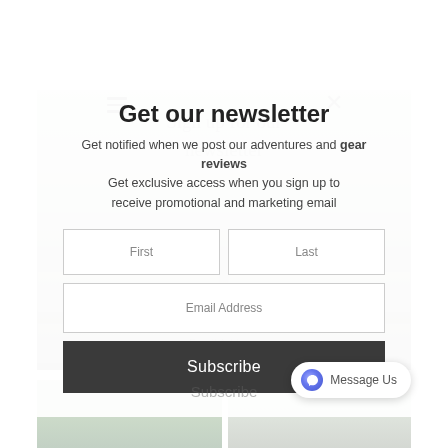≡  ×
Sign up for our newsletter
Get our newsletter
Get notified when we post our adventures and gear reviews
Get exclusive access when you sign up to receive promotional and marketing email
First
Last
Email Address
Subscribe
Message Us